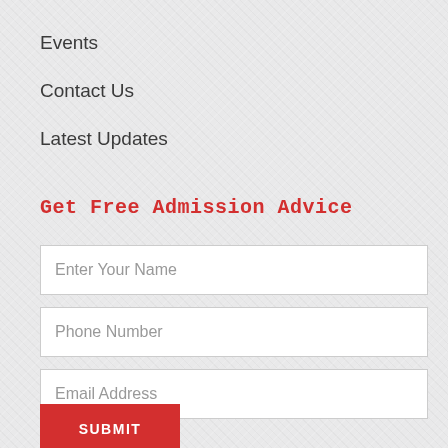Events
Contact Us
Latest Updates
Get Free Admission Advice
Enter Your Name
Phone Number
Email Address
SUBMIT